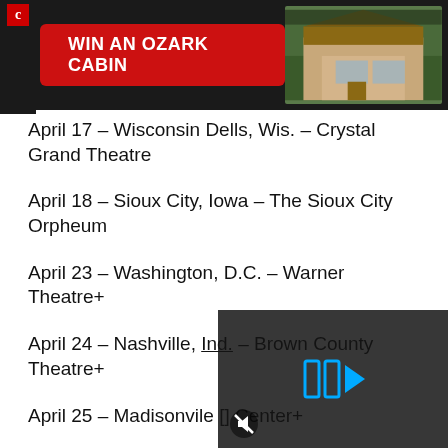[Figure (screenshot): Advertisement banner with dark background, red 'WIN AN OZARK CABIN' button on left, and cabin photo on right]
April 17 – Wisconsin Dells, Wis. – Crystal Grand Theatre
April 18 – Sioux City, Iowa – The Sioux City Orpheum
April 23 – Washington, D.C. – Warner Theatre+
April 24 – Nashville, Ind. – Brown County Theatre+
April 25 – Madisonville [obscured] Center+
April 30 – Greensburg [obscured]
[Figure (screenshot): Video player overlay showing pause/play icon in blue and mute icon, dark semi-transparent background over list content]